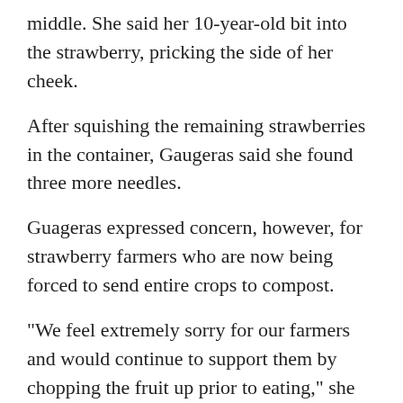middle. She said her 10-year-old bit into the strawberry, pricking the side of her cheek.
After squishing the remaining strawberries in the container, Gaugeras said she found three more needles.
Guageras expressed concern, however, for strawberry farmers who are now being forced to send entire crops to compost.
"We feel extremely sorry for our farmers and would continue to support them by chopping the fruit up prior to eating," she said.
Federal Health Minister Greg Hunt ordered the national food safety watchdog to investigate Queensland's handling of the needle scare.